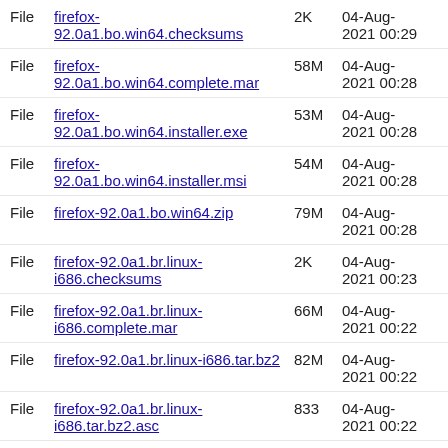File  firefox-92.0a1.bo.win64.checksums  2K  04-Aug-2021 00:29
File  firefox-92.0a1.bo.win64.complete.mar  58M  04-Aug-2021 00:28
File  firefox-92.0a1.bo.win64.installer.exe  53M  04-Aug-2021 00:28
File  firefox-92.0a1.bo.win64.installer.msi  54M  04-Aug-2021 00:28
File  firefox-92.0a1.bo.win64.zip  79M  04-Aug-2021 00:28
File  firefox-92.0a1.br.linux-i686.checksums  2K  04-Aug-2021 00:23
File  firefox-92.0a1.br.linux-i686.complete.mar  66M  04-Aug-2021 00:22
File  firefox-92.0a1.br.linux-i686.tar.bz2  82M  04-Aug-2021 00:22
File  firefox-92.0a1.br.linux-i686.tar.bz2.asc  833  04-Aug-2021 00:22
File  firefox-92.0a1.br.linux-x86_64.checksums  2K  04-Aug-2021 00:10
File  firefox-92.0a1.br.linux-x86_64.complete.mar  65M  04-Aug-2021 00:09
File  firefox-92.0a1.br.linux-  04-Aug-